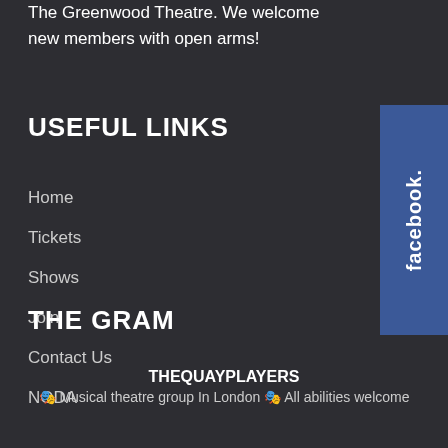The Greenwood Theatre. We welcome new members with open arms!
USEFUL LINKS
Home
Tickets
Shows
Join
Contact Us
NODA
[Figure (other): Facebook tab/button on right side]
THE GRAM
THEQUAYPLAYERS
🎭 Musical theatre group In London 🎭 All abilities welcome